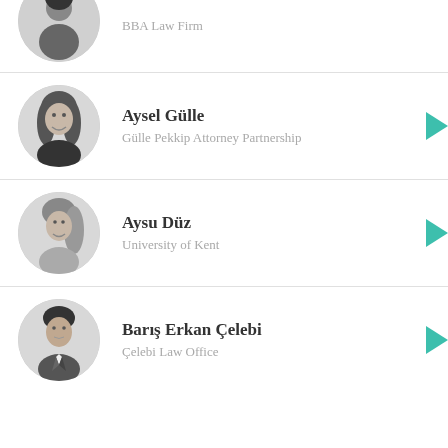[Figure (photo): Circular black and white portrait photo of a woman (partially cropped at top), associated with BBA Law Firm]
BBA Law Firm
[Figure (photo): Circular black and white portrait photo of Aysel Gülle, smiling woman with long hair]
Aysel Gülle
Gülle Pekkip Attorney Partnership
[Figure (photo): Circular black and white portrait photo of Aysu Düz, woman with long hair]
Aysu Düz
University of Kent
[Figure (photo): Circular black and white portrait photo of Barış Erkan Çelebi, young man in suit]
Barış Erkan Çelebi
Çelebi Law Office